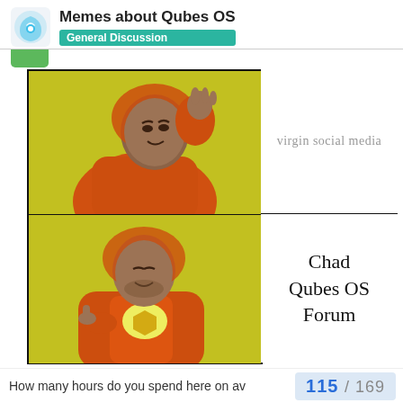Memes about Qubes OS — General Discussion
[Figure (illustration): Drake meme with two panels. Top panel: Drake (disapproving) with text 'virgin social media'. Bottom panel: Drake (approving) with text 'Chad Qubes OS Forum'.]
How many hours do you spend here on av  115 / 169